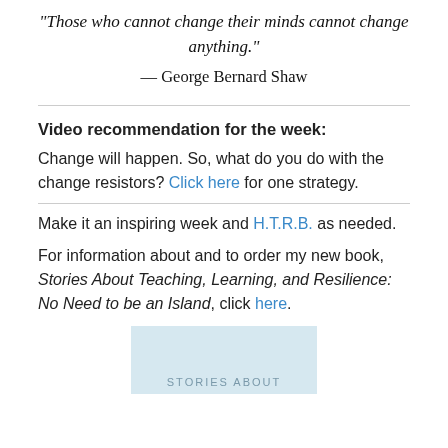“Those who cannot change their minds cannot change anything.”
— George Bernard Shaw
Video recommendation for the week:
Change will happen. So, what do you do with the change resistors? Click here for one strategy.
Make it an inspiring week and H.T.R.B. as needed.
For information about and to order my new book, Stories About Teaching, Learning, and Resilience: No Need to be an Island, click here.
[Figure (illustration): Book cover preview showing light blue background with text 'STORIES ABOUT' at the bottom]